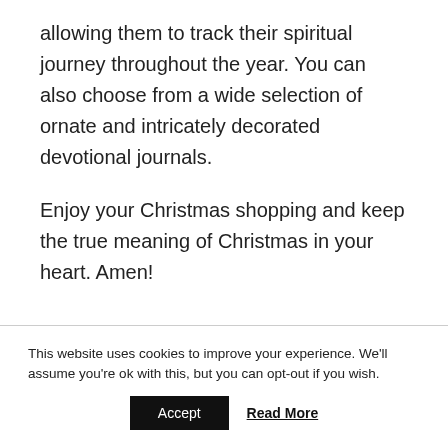allowing them to track their spiritual journey throughout the year. You can also choose from a wide selection of ornate and intricately decorated devotional journals.
Enjoy your Christmas shopping and keep the true meaning of Christmas in your heart. Amen!
This website uses cookies to improve your experience. We'll assume you're ok with this, but you can opt-out if you wish.
Accept   Read More